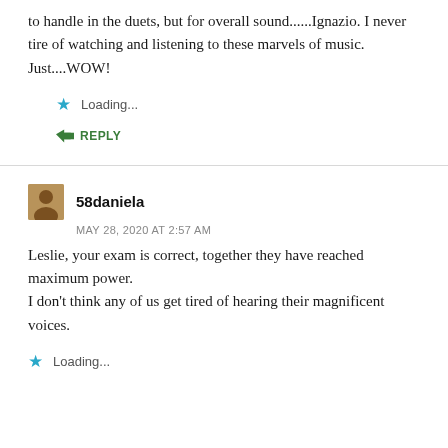to handle in the duets, but for overall sound......Ignazio. I never tire of watching and listening to these marvels of music. Just....WOW!
Loading...
REPLY
58daniela
MAY 28, 2020 AT 2:57 AM
Leslie, your exam is correct, together they have reached maximum power.
I don't think any of us get tired of hearing their magnificent voices.
Loading...